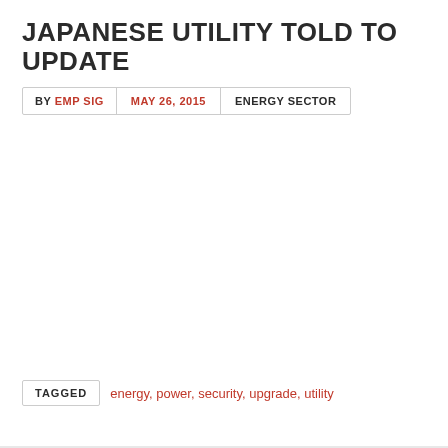JAPANESE UTILITY TOLD TO UPDATE
BY EMP SIG | MAY 26, 2015 | ENERGY SECTOR
TAGGED energy, power, security, upgrade, utility
ELECTRICAL GRID SUNSCREEN